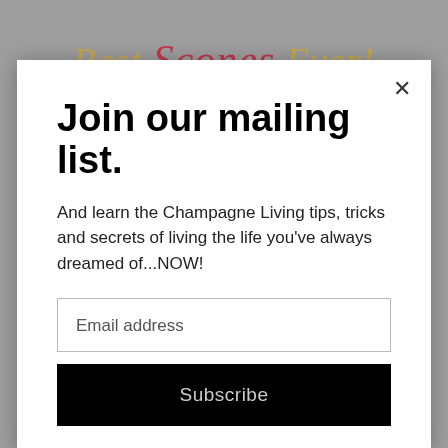[Figure (screenshot): Background showing a food blog page with 'Best Scones Ever!' title text in gold/red script font on a gray background with a decorative pink/red bar beneath it.]
Join our mailing list.
And learn the Champagne Living tips, tricks and secrets of living the life you've always dreamed of...NOW!
Email address
Subscribe